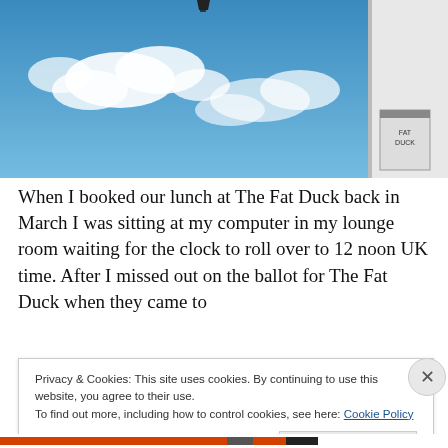[Figure (photo): Photo taken looking up at a blue sky with white clouds and the corner of a white building with a sign visible on the right side.]
When I booked our lunch at The Fat Duck back in March I was sitting at my computer in my lounge room waiting for the clock to roll over to 12 noon UK time. After I missed out on the ballot for The Fat Duck when they came to
Privacy & Cookies: This site uses cookies. By continuing to use this website, you agree to their use.
To find out more, including how to control cookies, see here: Cookie Policy
Close and accept